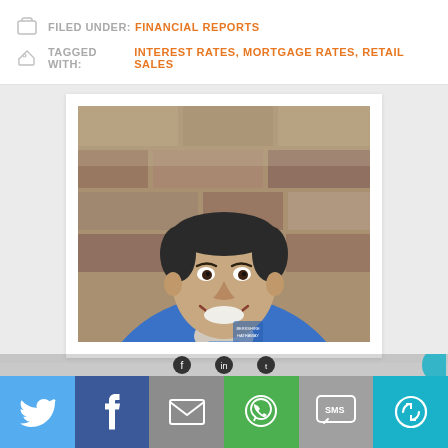FILED UNDER: FINANCIAL REPORTS
TAGGED WITH: INTEREST RATES, MORTGAGE RATES, RETAIL SALES
[Figure (photo): Professional headshot of a smiling middle-aged man wearing a blue Berkshire Hathaway jacket, photographed against a stone wall background.]
[Figure (infographic): Social sharing bar with icons for Twitter, Facebook, Email, WhatsApp, SMS, and a share/refresh icon on colored backgrounds.]